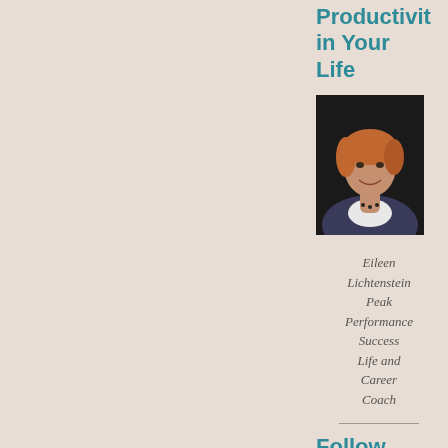Productivity in Your Life
[Figure (photo): Portrait photo of a smiling woman with short reddish-brown hair, wearing a white top and dark jacket with a necklace, against a dark background.]
Eileen Lichtenstein Peak Performance Success Life and Career Coach
Follow